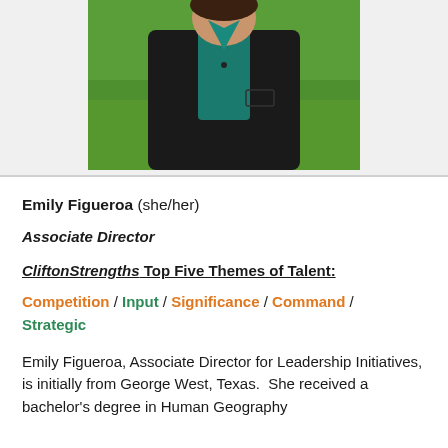[Figure (photo): Professional headshot of Emily Figueroa wearing a dark blazer over a teal shirt, photographed outdoors with green grass in the background.]
Emily Figueroa (she/her)
Associate Director
CliftonStrengths Top Five Themes of Talent:
Competition / Input / Significance / Command / Strategic
Emily Figueroa, Associate Director for Leadership Initiatives, is initially from George West, Texas.  She received a bachelor's degree in Human Geography